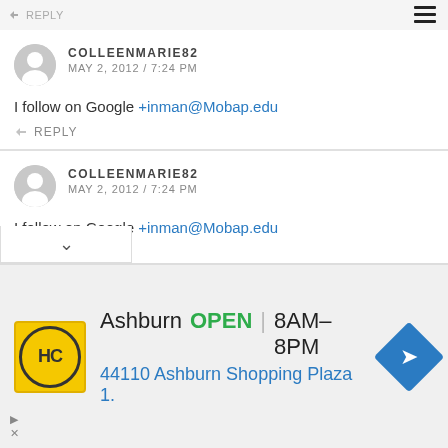REPLY
COLLEENMARIE82
MAY 2, 2012 / 7:24 PM
I follow on Google +inman@Mobap.edu
REPLY
COLLEENMARIE82
MAY 2, 2012 / 7:24 PM
I follow on Google +inman@Mobap.edu
REPLY
[Figure (screenshot): Ad banner for HC Ashburn location: yellow logo with HC initials, text 'Ashburn OPEN 8AM-8PM 44110 Ashburn Shopping Plaza 1.' with blue navigation diamond icon]